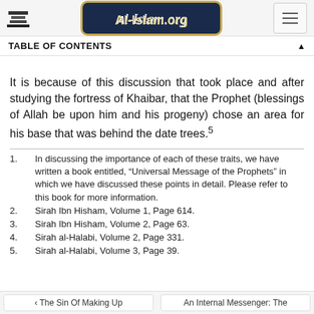Al-Islam.org
TABLE OF CONTENTS
It is because of this discussion that took place and after studying the fortress of Khaibar, that the Prophet (blessings of Allah be upon him and his progeny) chose an area for his base that was behind the date trees.5
1. In discussing the importance of each of these traits, we have written a book entitled, “Universal Message of the Prophets” in which we have discussed these points in detail. Please refer to this book for more information.
2. Sirah Ibn Hisham, Volume 1, Page 614.
3. Sirah Ibn Hisham, Volume 2, Page 63.
4. Sirah al-Halabi, Volume 2, Page 331.
5. Sirah al-Halabi, Volume 3, Page 39.
‹ The Sin Of Making Up | An Internal Messenger: The